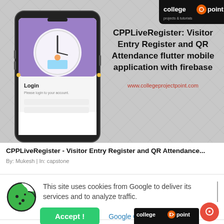[Figure (screenshot): College Point website banner showing CPPLiveRegister app. Left side shows a smartphone mockup with a Login screen. Right side shows bold text with app title and website URL. Top-right corner shows college point logo.]
CPPLiveRegister: Visitor Entry Register and QR Attendance flutter mobile application with firebase
www.collegeprojectpoint.com
CPPLiveRegister - Visitor Entry Register and QR Attendance...
By: Mukesh | In: capstone
This site uses cookies from Google to deliver its services and to analyze traffic.
Accept !
Google Cookie Policy